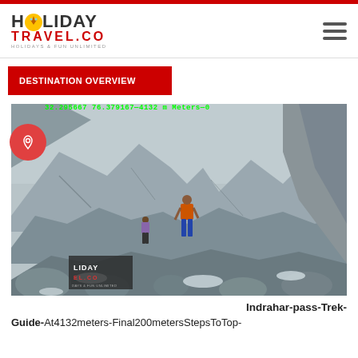HOLIDAY TRAVEL.CO — HOLIDAYS & FUN UNLIMITED
DESTINATION OVERVIEW
[Figure (photo): Hikers climbing a rocky, snow-dusted mountain pass. One hiker in the foreground wears blue jeans and an orange backpack. The terrain is steep with large boulders and grey rock faces. A GPS overlay reads: 32.295667 76.379167—4132 m Meters—0. Holiday Travel.co watermark visible in lower left of photo.]
Indrahar-pass-Trek-Guide-At4132meters-Final200metersStepsToTop-